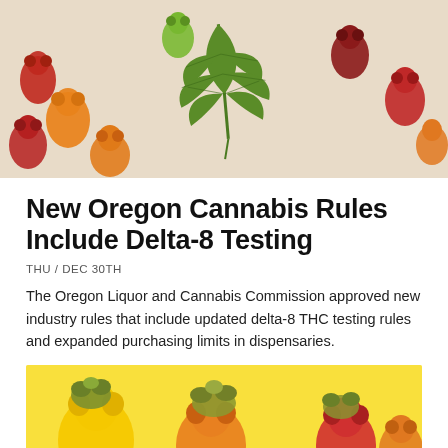[Figure (photo): Colorful gummy bear candies with a cannabis leaf on top, on a white background.]
New Oregon Cannabis Rules Include Delta-8 Testing
THU / DEC 30TH
The Oregon Liquor and Cannabis Commission approved new industry rules that include updated delta-8 THC testing rules and expanded purchasing limits in dispensaries.
[Figure (photo): Close-up of colorful gummy bear candies with cannabis buds placed on top of them.]